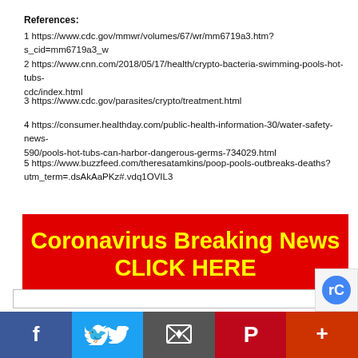References:
1 https://www.cdc.gov/mmwr/volumes/67/wr/mm6719a3.htm?s_cid=mm6719a3_w
2 https://www.cnn.com/2018/05/17/health/crypto-bacteria-swimming-pools-hot-tubs-cdc/index.html
3 https://www.cdc.gov/parasites/crypto/treatment.html
4 https://consumer.healthday.com/public-health-information-30/water-safety-news-590/pools-hot-tubs-can-harbor-dangerous-germs-734029.html
5 https://www.buzzfeed.com/theresatamkins/poop-pools-outbreaks-deaths?utm_term=.dsAkAaPKz#.vdq1OVIL3
[Figure (infographic): Red banner advertisement reading 'Coronavirus Breaking News CLICK HERE' in bold yellow text on red background]
[Figure (infographic): Social media sharing bar with Facebook, Twitter, Email, Pinterest, and More buttons]